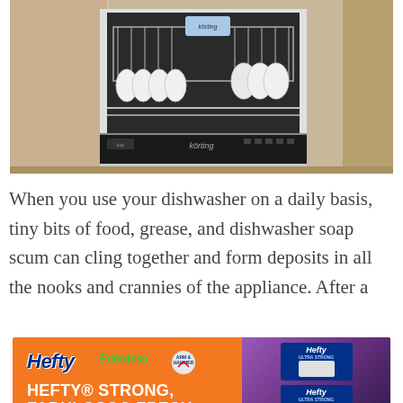[Figure (photo): Open Körting dishwasher with stainless steel racks and dishes inside, set in a kitchen with wooden cabinetry. The brand name Körting is visible on the control panel and on a box inside the upper rack.]
When you use your dishwasher on a daily basis, tiny bits of food, grease, and dishwasher soap scum can cling together and form deposits in all the nooks and crannies of the appliance. After a
[Figure (photo): Orange advertisement banner for Hefty and Fabuloso products. Shows Hefty and Fabuloso logos, Arm & Hammer logo, and text 'HEFTY STRONG, FABULOSO FRESH'. Right side shows Hefty Ultra Strong product boxes against a purple background.]